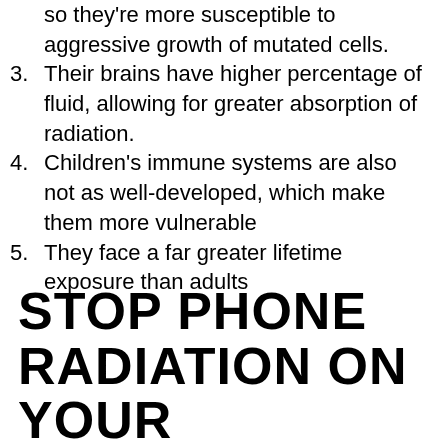so they're more susceptible to aggressive growth of mutated cells.
Their brains have higher percentage of fluid, allowing for greater absorption of radiation.
Children's immune systems are also not as well-developed, which make them more vulnerable
They face a far greater lifetime exposure than adults
STOP PHONE RADIATION ON YOUR